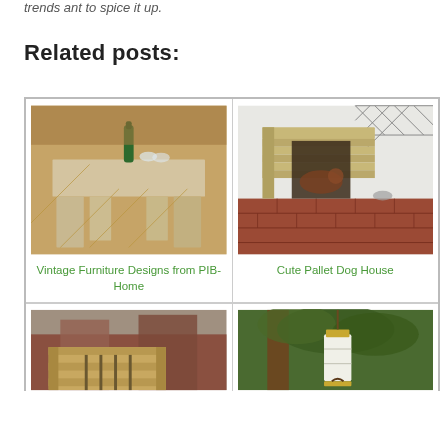trends ant to spice it up.
Related posts:
[Figure (photo): A wooden coffee table with a green bottle and glasses on top, placed on a herringbone wood floor.]
Vintage Furniture Designs from PIB-Home
[Figure (photo): A wooden pallet dog house with a dog inside, placed on a red brick patio floor next to a white wall with diamond lattice.]
Cute Pallet Dog House
[Figure (photo): A wooden pallet crate or box structure outdoors with brick buildings behind.]
[Figure (photo): A lantern or light fixture hanging from a tree outdoors.]